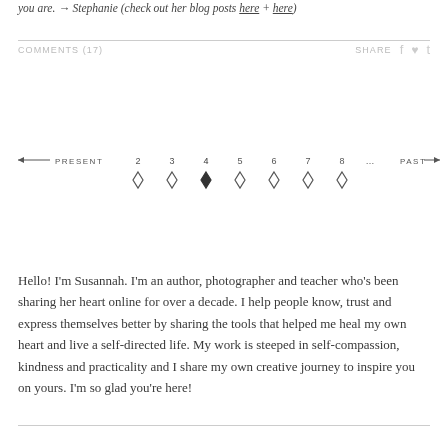you are. → Stephanie (check out her blog posts here + here)
COMMENTS (17)   SHARE
[Figure (other): Pagination navigation bar with PRESENT label, arrow left, page numbers 2-8 with diamond shapes (page 4 selected/filled), ellipsis, PAST label, arrow right]
Hello! I'm Susannah. I'm an author, photographer and teacher who's been sharing her heart online for over a decade. I help people know, trust and express themselves better by sharing the tools that helped me heal my own heart and live a self-directed life. My work is steeped in self-compassion, kindness and practicality and I share my own creative journey to inspire you on yours. I'm so glad you're here!